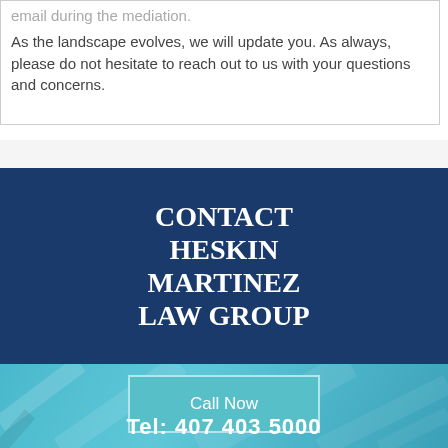email during the mediation.
As the landscape evolves, we will update you.  As always, please do not hesitate to reach out to us with your questions and concerns.
CONTACT HESKIN MARTINEZ LAW GROUP
Call Now
Tel: 407 403 5000